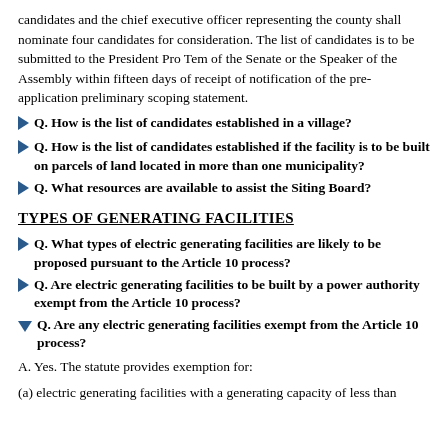candidates and the chief executive officer representing the county shall nominate four candidates for consideration. The list of candidates is to be submitted to the President Pro Tem of the Senate or the Speaker of the Assembly within fifteen days of receipt of notification of the pre-application preliminary scoping statement.
Q. How is the list of candidates established in a village?
Q. How is the list of candidates established if the facility is to be built on parcels of land located in more than one municipality?
Q. What resources are available to assist the Siting Board?
TYPES OF GENERATING FACILITIES
Q. What types of electric generating facilities are likely to be proposed pursuant to the Article 10 process?
Q. Are electric generating facilities to be built by a power authority exempt from the Article 10 process?
Q. Are any electric generating facilities exempt from the Article 10 process?
A. Yes. The statute provides exemption for:
(a) electric generating facilities with a generating capacity of less than...